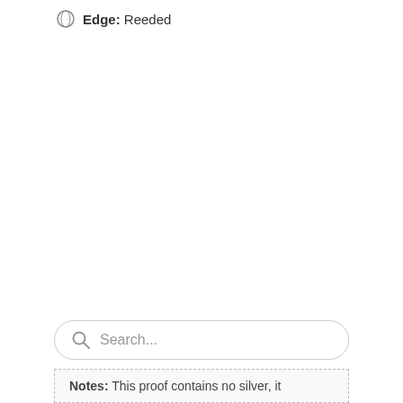Edge: Reeded
[Figure (other): Search bar with magnifying glass icon and placeholder text 'Search...']
Notes: This proof contains no silver, it